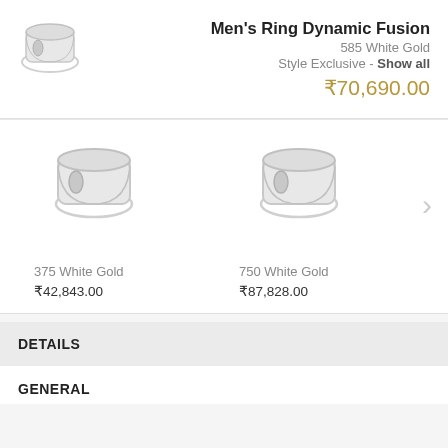[Figure (photo): Men's white gold ring product photo, small size, top left area]
Men's Ring Dynamic Fusion
585 White Gold
Style Exclusive - Show all
₹70,690.00
[Figure (photo): White gold ring product photo, 375 White Gold variant]
375 White Gold
₹42,843.00
[Figure (photo): White gold ring product photo, 750 White Gold variant]
750 White Gold
₹87,828.00
DETAILS
GENERAL